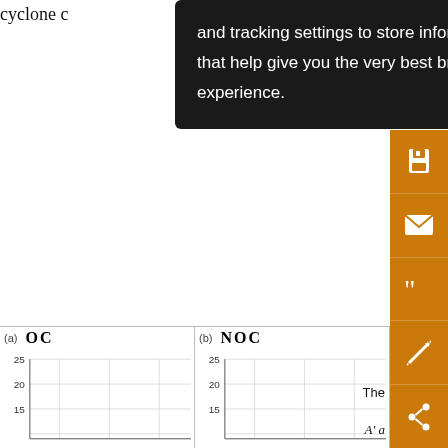cyclone c
and tracking settings to store information that help give you the very best browsing experience.
[Figure (screenshot): Orange sidebar with icons: save, email, cite, annotate, share]
s⁻²
(a)
(b)
[Figure (continuous-plot): Chart (a) OC with y-axis values 15, 20, 25]
[Figure (continuous-plot): Chart (b) NOC with y-axis values 15, 20, 25]
The
A' a